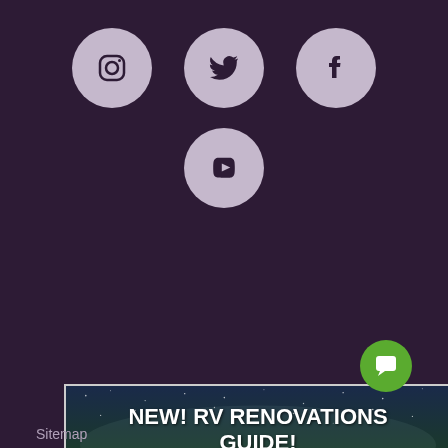[Figure (illustration): Three social media icon circles in a row: Instagram, Twitter, Facebook — on dark purple background]
[Figure (illustration): YouTube icon circle below the three social media icons]
[Figure (illustration): Advertisement banner with night sky/Milky Way background image. Title: NEW! RV RENOVATIONS GUIDE! Body: We've compiled a helpful guide, complete with DIY tips, maintenance tricks, and everything in between. Purple download button at bottom: DOWNLOAD THE FREE GUIDE!]
Sitemap